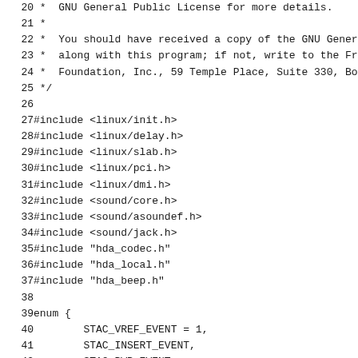Source code listing lines 20-51, C source file with GNU GPL license header and #include directives and enum definitions
[Figure (other): Code snippet showing C source file with GPL license comment lines 20-25, include directives lines 27-37, and enum blocks lines 39-51]